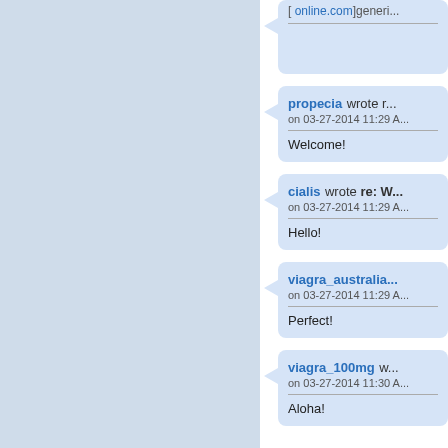[...online.com]generic...
propecia wrote re: ... on 03-27-2014 11:29 A... Welcome!
cialis wrote re: W... on 03-27-2014 11:29 A... Hello!
viagra_australia... on 03-27-2014 11:29 A... Perfect!
viagra_100mg w... on 03-27-2014 11:30 A... Aloha!